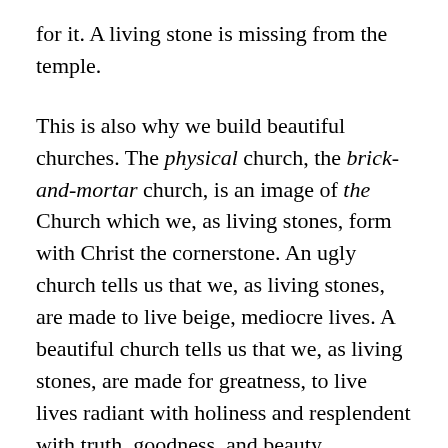for it. A living stone is missing from the temple.
This is also why we build beautiful churches. The physical church, the brick-and-mortar church, is an image of the Church which we, as living stones, form with Christ the cornerstone. An ugly church tells us that we, as living stones, are made to live beige, mediocre lives. A beautiful church tells us that we, as living stones, are made for greatness, to live lives radiant with holiness and resplendent with truth, goodness, and beauty.
In the gospel, Jesus refers to the Church as His bride. When He tells His apostles that He is going to prepare a place for them in His Father’s house, Jesus is drawing